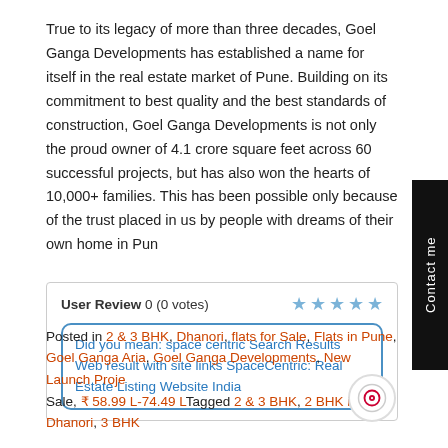True to its legacy of more than three decades, Goel Ganga Developments has established a name for itself in the real estate market of Pune. Building on its commitment to best quality and the best standards of construction, Goel Ganga Developments is not only the proud owner of 4.1 crore square feet across 60 successful projects, but has also won the hearts of 10,000+ families. This has been possible only because of the trust placed in us by people with dreams of their own home in Pune.
User Review 0 (0 votes)
Did you mean: space centric Search Results Web result with site links SpaceCentric: Real Estate Listing Website India
Posted in 2 & 3 BHK, Dhanori, flats for Sale, Flats in Pune, Goel Ganga Aria, Goel Ganga Developments, New Launch Projects for Sale, ₹ 58.99 L-74.49 L Tagged 2 & 3 BHK, 2 BHK in Dhanori, 3 BHK